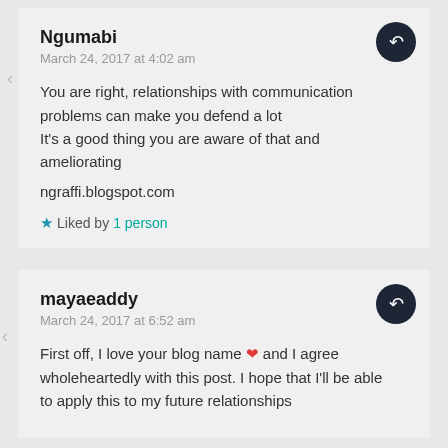Ngumabi
March 24, 2017 at 4:02 am
You are right, relationships with communication problems can make you defend a lot
It's a good thing you are aware of that and ameliorating

ngraffi.blogspot.com
Liked by 1 person
mayaeaddy
March 24, 2017 at 6:52 am
First off, I love your blog name ❤ and I agree wholeheartedly with this post. I hope that I'll be able to apply this to my future relationships